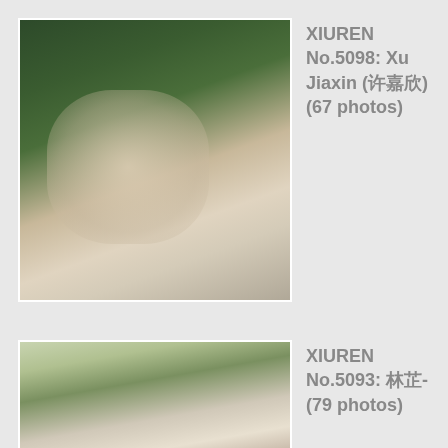[Figure (photo): Photo of a young woman in a white sheer dress sitting outdoors with green foliage background]
XIUREN No.5098: Xu Jiaxin (许嘉欣) (67 photos)
[Figure (photo): Photo of a young woman in a white top and dark jeans standing outdoors near pillars]
XIUREN No.5093: 林芷- (79 photos)